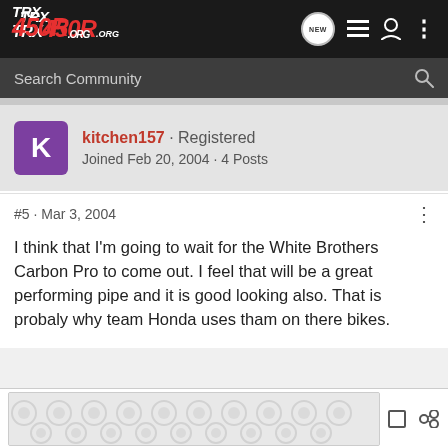TRX 450R .ORG
Search Community
kitchen157 · Registered
Joined Feb 20, 2004 · 4 Posts
#5 · Mar 3, 2004
I think that I'm going to wait for the White Brothers Carbon Pro to come out. I feel that will be a great performing pipe and it is good looking also. That is probaly why team Honda uses tham on there bikes.
[Figure (other): Advertisement banner with decorative circular pattern]